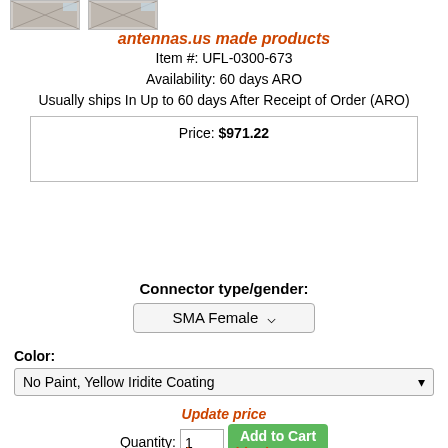[Figure (photo): Two small product thumbnail images at the top left]
antennas.us made products
Item #: UFL-0300-673
Availability: 60 days ARO
Usually ships In Up to 60 days After Receipt of Order (ARO)
Price: $971.22
Connector type/gender:
SMA Female ˅
Color:
No Paint, Yellow Iridite Coating ˅
Update price
Quantity: 1  Add to Cart
Estimate Shipping